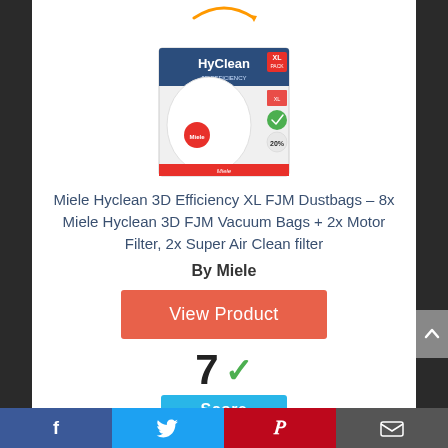[Figure (photo): HyClean XL FJM dustbag product box — white box with blue top panel labeled HyClean, red XL badge, green tick badge, red Miele logo at bottom, showing vacuum bag inside]
Miele Hyclean 3D Efficiency XL FJM Dustbags – 8x Miele Hyclean 3D FJM Vacuum Bags + 2x Motor Filter, 2x Super Air Clean filter
By Miele
View Product
7 ✓
Score